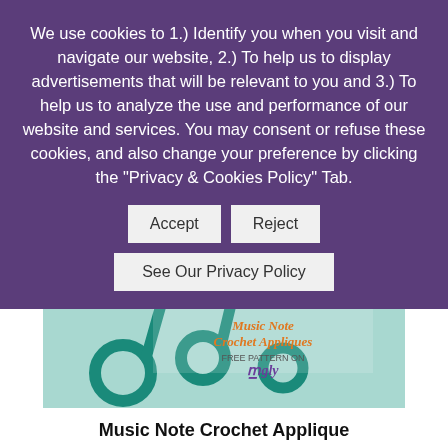We use cookies to 1.) Identify you when you visit and navigate our website, 2.) To help us to display advertisements that will be relevant to you and 3.) To help us to analyze the use and performance of our website and services. You may consent or refuse these cookies, and also change your preference by clicking the "Privacy & Cookies Policy" Tab.
Accept
Reject
See Our Privacy Policy
[Figure (photo): Photo of teal crochet music note appliques with text overlay reading 'Music Note Crochet Appliques, Free Pattern on Moogly']
Music Note Crochet Applique
FREE crochet pattern for a Music Note Crochet Applique by Moogly.